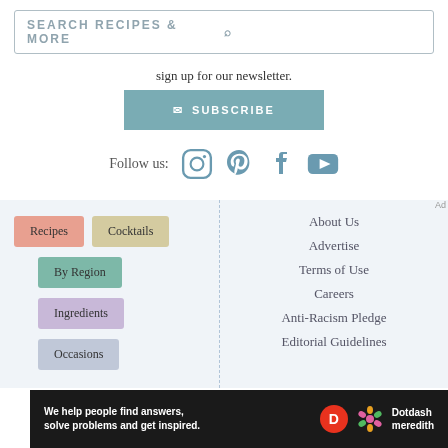[Figure (screenshot): Search bar with placeholder text SEARCH RECIPES & MORE and a magnifying glass icon]
sign up for our newsletter.
[Figure (other): Teal SUBSCRIBE button with envelope icon]
Follow us:
[Figure (other): Social media icons: Instagram, Pinterest, Facebook, YouTube]
Recipes
Cocktails
By Region
Ingredients
Occasions
About Us
Advertise
Terms of Use
Careers
Anti-Racism Pledge
Editorial Guidelines
[Figure (other): Dotdash Meredith advertisement banner: We help people find answers, solve problems and get inspired.]